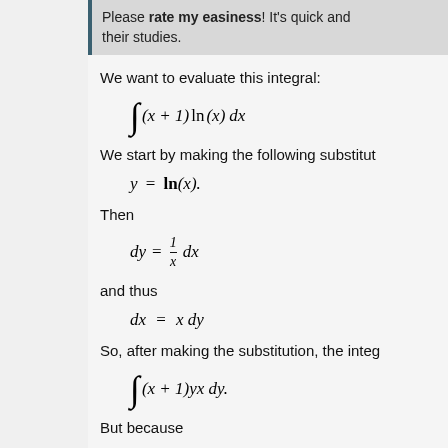Please rate my easiness! It's quick and their studies.
We want to evaluate this integral:
We start by making the following substitution:
Then
and thus
So, after making the substitution, the integral becomes:
But because